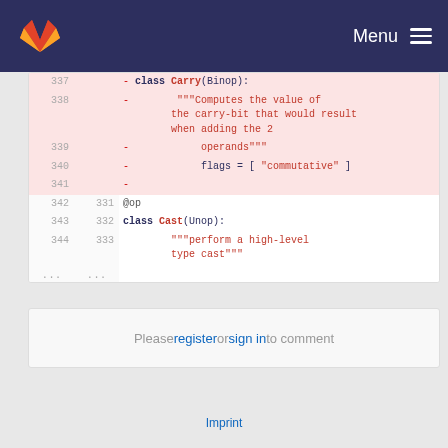GitLab | Menu
[Figure (screenshot): Code diff view showing lines 337-344 and 331-333 of a Python file with class Carry(Binop) removed and class Cast(Unop) added]
Please register or sign in to comment
Imprint